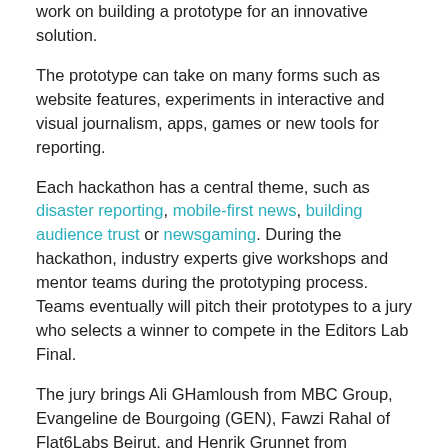work on building a prototype for an innovative solution.
The prototype can take on many forms such as website features, experiments in interactive and visual journalism, apps, games or new tools for reporting.
Each hackathon has a central theme, such as disaster reporting, mobile-first news, building audience trust or newsgaming. During the hackathon, industry experts give workshops and mentor teams during the prototyping process. Teams eventually will pitch their prototypes to a jury who selects a winner to compete in the Editors Lab Final.
The jury brings Ali GHamloush from MBC Group, Evangeline de Bourgoing (GEN), Fawzi Rahal of Flat6Labs Beirut, and Henrik Grunnet from International Media Support (IMS).
To know more and register: https://www.globaleditorsnetwork.org/programmes/editors-